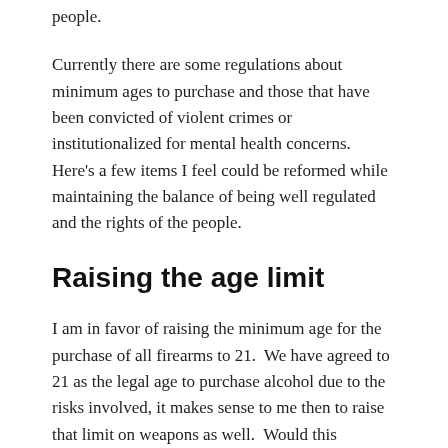people.
Currently there are some regulations about minimum ages to purchase and those that have been convicted of violent crimes or institutionalized for mental health concerns.  Here's a few items I feel could be reformed while maintaining the balance of being well regulated and the rights of the people.
Raising the age limit
I am in favor of raising the minimum age for the purchase of all firearms to 21.  We have agreed to 21 as the legal age to purchase alcohol due to the risks involved, it makes sense to me then to raise that limit on weapons as well.  Would this completely solve the problem, definitely not. A lot of the shooters have...